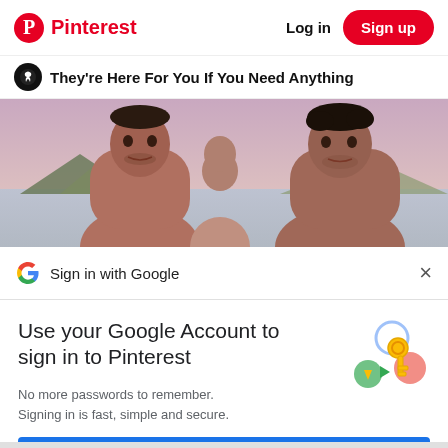Pinterest  Log in  Sign up
They're Here For You If You Need Anything
[Figure (photo): Two shirtless men outdoors near a lake and mountains with pink/purple sky]
Sign in with Google
Use your Google Account to sign in to Pinterest
No more passwords to remember. Signing in is fast, simple and secure.
[Figure (illustration): Google key and colorful circles illustration]
Continue